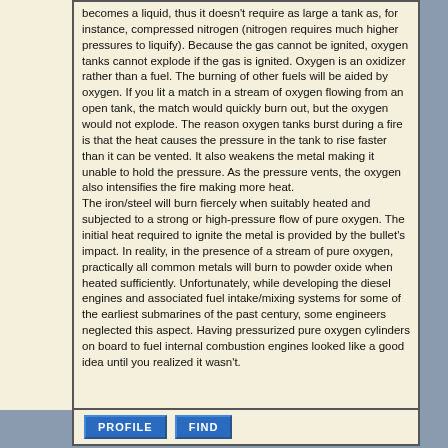becomes a liquid, thus it doesn't require as large a tank as, for instance, compressed nitrogen (nitrogen requires much higher pressures to liquify). Because the gas cannot be ignited, oxygen tanks cannot explode if the gas is ignited. Oxygen is an oxidizer rather than a fuel. The burning of other fuels will be aided by oxygen. If you lit a match in a stream of oxygen flowing from an open tank, the match would quickly burn out, but the oxygen would not explode. The reason oxygen tanks burst during a fire is that the heat causes the pressure in the tank to rise faster than it can be vented. It also weakens the metal making it unable to hold the pressure. As the pressure vents, the oxygen also intensifies the fire making more heat. The iron/steel will burn fiercely when suitably heated and subjected to a strong or high-pressure flow of pure oxygen. The initial heat required to ignite the metal is provided by the bullet's impact. In reality, in the presence of a stream of pure oxygen, practically all common metals will burn to powder oxide when heated sufficiently. Unfortunately, while developing the diesel engines and associated fuel intake/mixing systems for some of the earliest submarines of the past century, some engineers neglected this aspect. Having pressurized pure oxygen cylinders on board to fuel internal combustion engines looked like a good idea until you realized it wasn't.